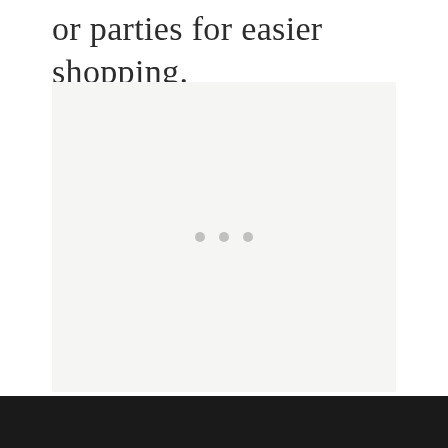or parties for easier shopping.
[Figure (screenshot): A light gray placeholder image box with three small gray dots centered near the bottom, indicating a loading or empty state.]